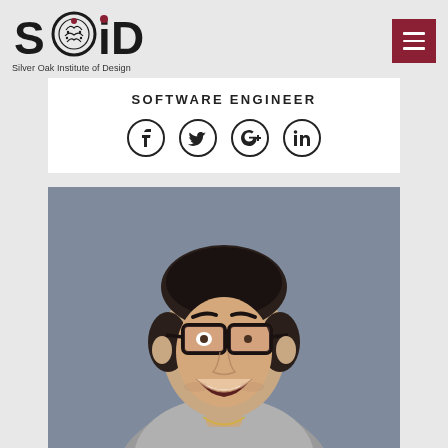[Figure (logo): SOiD - Silver Oak Institute of Design logo with brain/tree graphic]
SOFTWARE ENGINEER
[Figure (illustration): Social media icons: Facebook, Twitter, Google+, LinkedIn]
[Figure (photo): Headshot photo of a young man smiling, wearing glasses, gray shirt, with a gold necklace, against a blue-gray background]